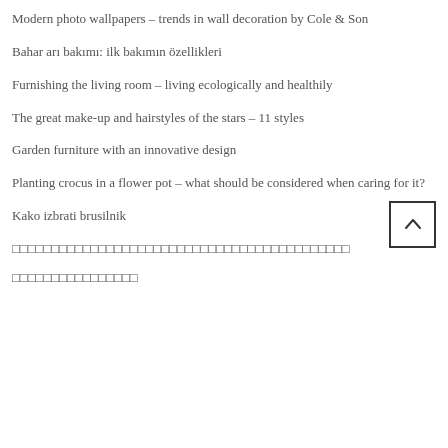Modern photo wallpapers – trends in wall decoration by Cole & Son
Bahar arı bakımı: ilk bakımın özellikleri
Furnishing the living room – living ecologically and healthily
The great make-up and hairstyles of the stars – 11 styles
Garden furniture with an innovative design
Planting crocus in a flower pot – what should be considered when caring for it?
Kako izbrati brusilnik
□□□□□□□□□□□□□□□□□□□□□□□□□□□□□□□□□□□□□□□□□
□□□□□□□□□□□□□□□□